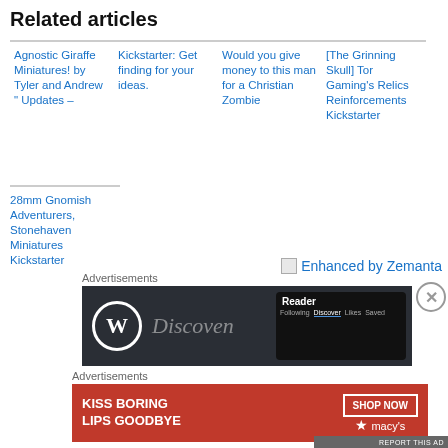Related articles
Agnostic Giraffe Miniatures! by Tyler and Andrew " Updates –
Kickstarter: Get finding for your ideas.
Would you give money to this man for a Christian Zombie
[The Grinning Skull] Tor Gaming's Relics Reinforcements Kickstarter
28mm Gnomish Adventurers, Stonehaven Miniatures Kickstarter
[Figure (logo): Enhanced by Zemanta logo and link]
Advertisements
[Figure (screenshot): WordPress Reader advertisement banner showing WordPress logo and Reader interface with Discover tab highlighted]
Advertisements
[Figure (photo): Macy's advertisement: KISS BORING LIPS GOODBYE with SHOP NOW button and Macy's star logo]